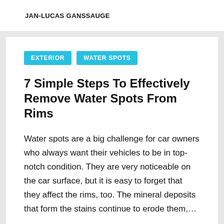JAN-LUCAS GANSSAUGE
EXTERIOR   WATER SPOTS
7 Simple Steps To Effectively Remove Water Spots From Rims
Water spots are a big challenge for car owners who always want their vehicles to be in top-notch condition. They are very noticeable on the car surface, but it is easy to forget that they affect the rims, too. The mineral deposits that form the stains continue to erode them,…